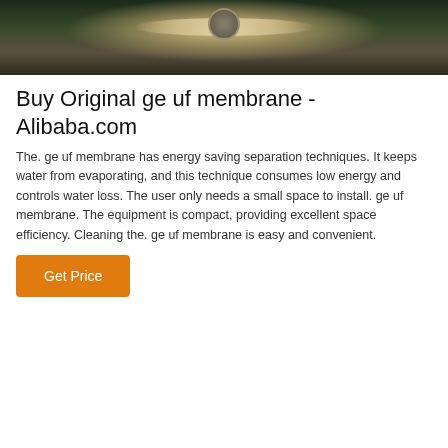[Figure (photo): Close-up photo of industrial ge uf membrane equipment with metal clamps and fittings, dark background with metallic components]
Buy Original ge uf membrane - Alibaba.com
The. ge uf membrane has energy saving separation techniques. It keeps water from evaporating, and this technique consumes low energy and controls water loss. The user only needs a small space to install. ge uf membrane. The equipment is compact, providing excellent space efficiency. Cleaning the. ge uf membrane is easy and convenient.
Get Price